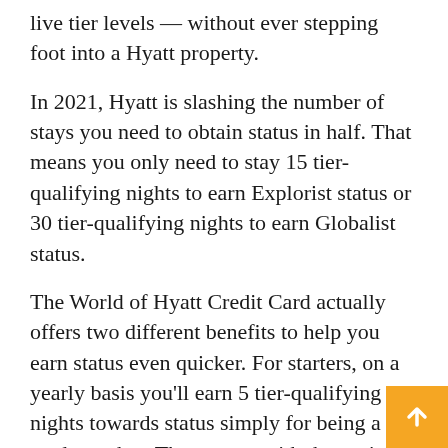live tier levels — without ever stepping foot into a Hyatt property.
In 2021, Hyatt is slashing the number of stays you need to obtain status in half. That means you only need to stay 15 tier-qualifying nights to earn Explorist status or 30 tier-qualifying nights to earn Globalist status.
The World of Hyatt Credit Card actually offers two different benefits to help you earn status even quicker. For starters, on a yearly basis you'll earn 5 tier-qualifying nights towards status simply for being a card member. That means with these nights alone, you'll only need another 10 nights for Explorist status or 25 nights for Globalist status. Not to mention that Hyatt is doubling all stays through February 28, 2021 which makes earning status in 2021 easier than ever. (Unfortunately